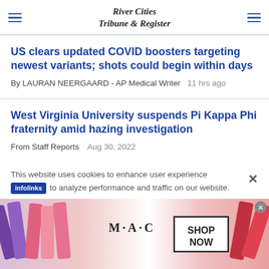River Cities Tribune & Register
US clears updated COVID boosters targeting newest variants; shots could begin within days
By LAURAN NEERGAARD - AP Medical Writer   11 hrs ago
West Virginia University suspends Pi Kappa Phi fraternity amid hazing investigation
From Staff Reports   Aug 30, 2022
This website uses cookies to enhance user experience to analyze performance and traffic on our website.
[Figure (photo): MAC Cosmetics advertisement showing lipsticks with SHOP NOW button]